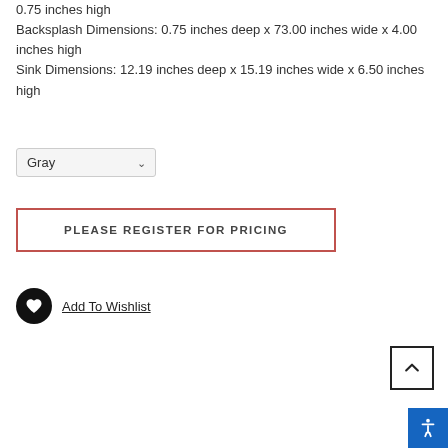0.75 inches high
Backsplash Dimensions: 0.75 inches deep x 73.00 inches wide x 4.00 inches high
Sink Dimensions: 12.19 inches deep x 15.19 inches wide x 6.50 inches high
Gray (dropdown)
PLEASE REGISTER FOR PRICING
Add To Wishlist
[Figure (other): Back to top button with upward chevron arrow]
[Figure (other): Accessibility icon button (blue background, white person figure)]